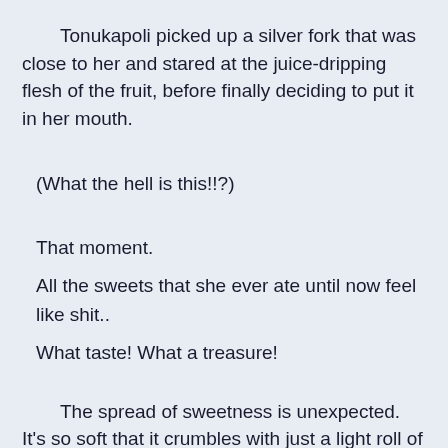Tonukapoli picked up a silver fork that was close to her and stared at the juice-dripping flesh of the fruit, before finally deciding to put it in her mouth.
(What the hell is this!!?)
That moment.
All the sweets that she ever ate until now feel like shit..
What taste! What a treasure!
The spread of sweetness is unexpected. It's so soft that it crumbles with just a light roll of the tongue, and the juices